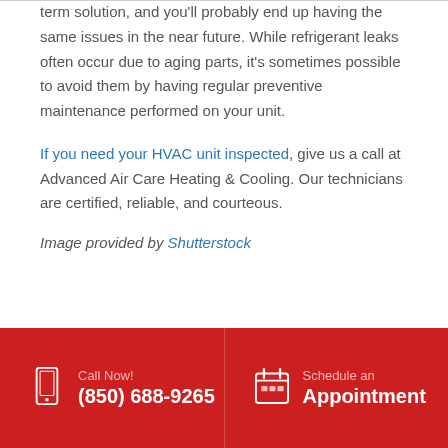term solution, and you'll probably end up having the same issues in the near future. While refrigerant leaks often occur due to aging parts, it's sometimes possible to avoid them by having regular preventive maintenance performed on your unit.
If you need your HVAC unit inspected, give us a call at Advanced Air Care Heating & Cooling. Our technicians are certified, reliable, and courteous.
Image provided by Shutterstock
Call Now! (850) 688-9265 | Schedule an Appointment